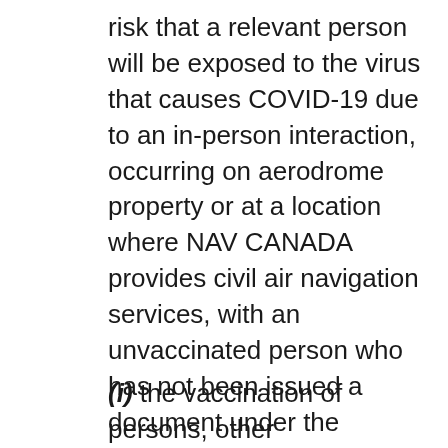risk that a relevant person will be exposed to the virus that causes COVID-19 due to an in-person interaction, occurring on aerodrome property or at a location where NAV CANADA provides civil air navigation services, with an unvaccinated person who has not been issued a document under the procedure referred to in paragraph (d) and who is a person referred to in any of subparagraphs 17.23(b)(i) to (iv), which procedures may include protocols related to
(i) the vaccination of persons, other